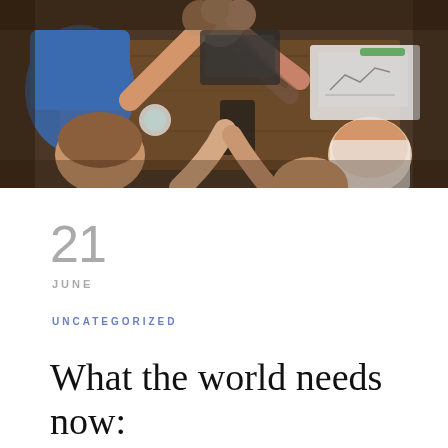[Figure (photo): Overhead view of diverse group of people sitting around a table with their hands raised and touching in a team high-five gesture. Papers, a laptop, and other items visible on the table.]
21
JUNE
UNCATEGORIZED
What the world needs now: